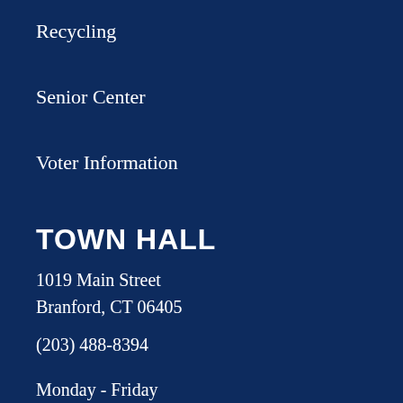Recycling
Senior Center
Voter Information
TOWN HALL
1019 Main Street
Branford, CT 06405
(203) 488-8394
Monday - Friday
8:30AM - 4:30PM
EMPLOYEE LOGIN